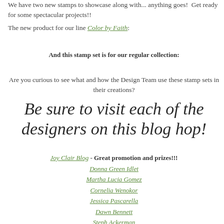We have two new stamps to showcase along with... anything goes!  Get ready for some spectacular projects!!
The new product for our line Color by Faith:
And this stamp set is for our regular collection:
Are you curious to see what and how the Design Team use these stamp sets in their creations?
Be sure to visit each of the designers on this blog hop!
Joy Clair Blog - Great promotion and prizes!!!
Donna Green Idlet
Martha Lucia Gomez
Cornelia Wenokor
Jessica Pascarella
Dawn Bennett
Steph Ackerman
LeeAnn Mckinney
Monica Edwards